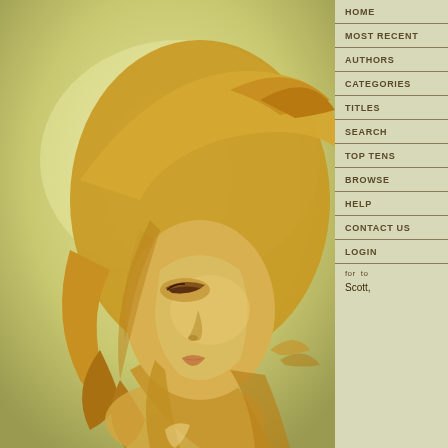[Figure (illustration): Digital painting/illustration of a woman with long flowing golden blonde hair, shown in profile facing right, with a soft warm yellow-green toned background. The figure has delicate features with skin rendered in warm golden tones.]
HOME
MOST RECENT
AUTHORS
CATEGORIES
TITLES
SEARCH
TOP TENS
BROWSE
HELP
CONTACT US
LOGIN
for to
Scott,